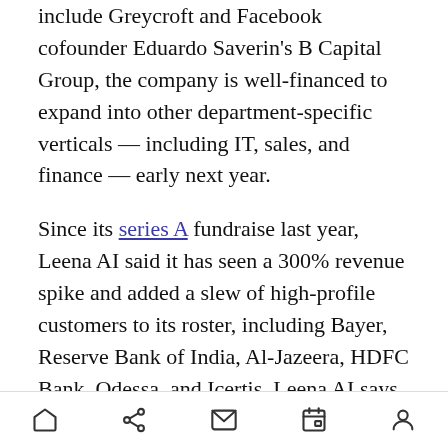include Greycroft and Facebook cofounder Eduardo Saverin's B Capital Group, the company is well-financed to expand into other department-specific verticals — including IT, sales, and finance — early next year.
Since its series A fundraise last year, Leena AI said it has seen a 300% revenue spike and added a slew of high-profile customers to its roster, including Bayer, Reserve Bank of India, Al-Jazeera, HDFC Bank, Odessa, and Icertis. Leena AI says it now covers 3 million workers across 60 countries.
VentureBeat's mission is to be a digital town square for technical decision-makers to gain